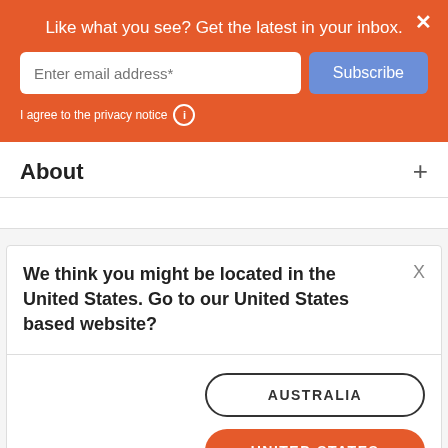Like what you see? Get the latest in your inbox.
Enter email address*
Subscribe
I agree to the privacy notice
About
We think you might be located in the United States. Go to our United States based website?
AUSTRALIA
UNITED STATES